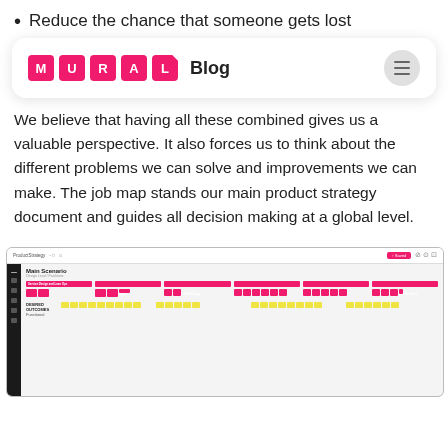Reduce the chance that someone gets lost
[Figure (screenshot): MURAL Blog website header/navigation bar with pink letter tiles spelling MURAL, 'Blog' text, and a hamburger menu icon on the right]
We believe that having all these combined gives us a valuable perspective. It also forces us to think about the different problems we can solve and improvements we can make. The job map stands our main product strategy document and guides all decision making at a global level.
[Figure (screenshot): Screenshot of MURAL application showing a product strategy board with 'Main Scenario' section with pink sticky notes arranged in columns with headers, and below a 'DESIRED OUTCOMES Functional' section with yellow sticky notes]